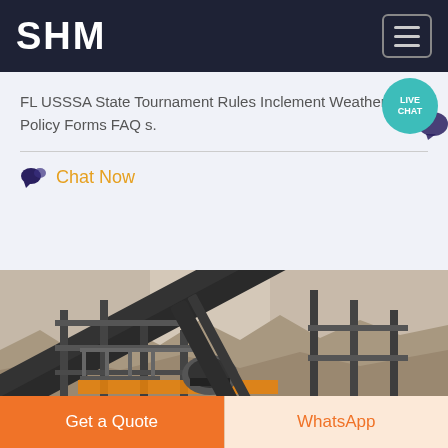SHM
FL USSSA State Tournament Rules Inclement Weather Policy Forms FAQ s.
Chat Now
[Figure (photo): Industrial mining conveyor belt machinery and equipment against a rocky quarry wall background]
Get a Quote
WhatsApp